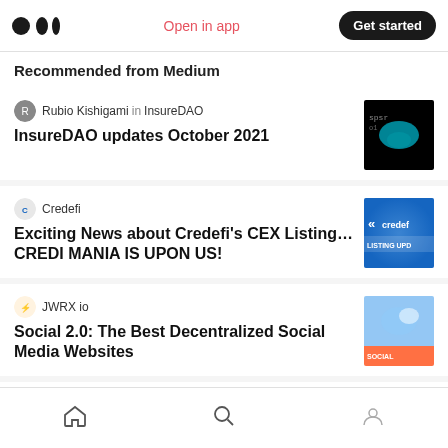Open in app | Get started
Recommended from Medium
Rubio Kishigami in InsureDAO — InsureDAO updates October 2021
Credefi — Exciting News about Credefi’s CEX Listing... CREDI MANIA IS UPON US!
JWRX io — Social 2.0: The Best Decentralized Social Media Websites
Jastech Forum
Home | Search | Profile